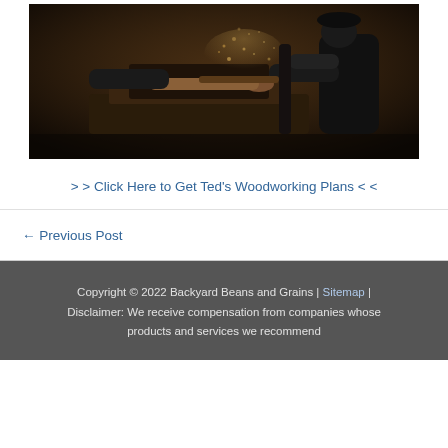[Figure (photo): A person woodworking at a lathe machine, with sawdust flying in a dark workshop setting.]
> > Click Here to Get Ted's Woodworking Plans < <
← Previous Post
Copyright © 2022 Backyard Beans and Grains | Sitemap | Disclaimer: We receive compensation from companies whose products and services we recommend